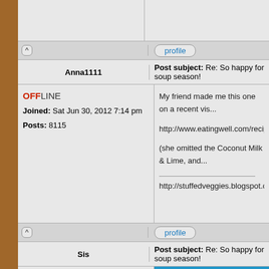profile (Anna1111 row)
Anna1111 | Post subject: Re: So happy for soup season!
OFFLINE
Joined: Sat Jun 30, 2012 7:14 pm
Posts: 8115
My friend made me this one on a recent vis...
http://www.eatingwell.com/recipe/251242/s...
(she omitted the Coconut Milk & Lime, and...
_______________
http://stuffedveggies.blogspot.com/
profile (Sis row)
Sis | Post subject: Re: So happy for soup season!
OFFLINE
Joined: Sat Jun 30, 2012 5:22
Briva wrote:
I cooked up Jamaican coco-yam (malan...